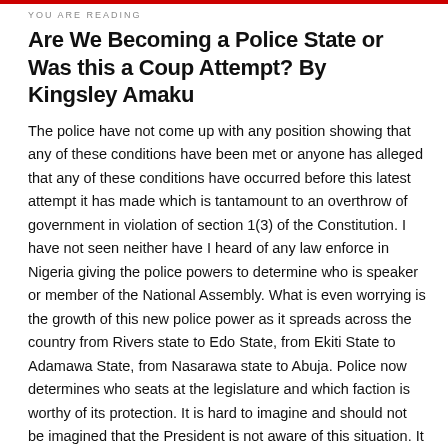YOU ARE READING
Are We Becoming a Police State or Was this a Coup Attempt? By Kingsley Amaku
The police have not come up with any position showing that any of these conditions have been met or anyone has alleged that any of these conditions have occurred before this latest attempt it has made which is tantamount to an overthrow of government in violation of section 1(3) of the Constitution. I have not seen neither have I heard of any law enforce in Nigeria giving the police powers to determine who is speaker or member of the National Assembly. What is even worrying is the growth of this new police power as it spreads across the country from Rivers state to Edo State, from Ekiti State to Adamawa State, from Nasarawa state to Abuja. Police now determines who seats at the legislature and which faction is worthy of its protection. It is hard to imagine and should not be imagined that the President is not aware of this situation. It is also hard to imagine and cannot meet logical deduction of fact that the IG has in all of this including this most recent attempt that smacks more of a coup acted alone without the ordering or